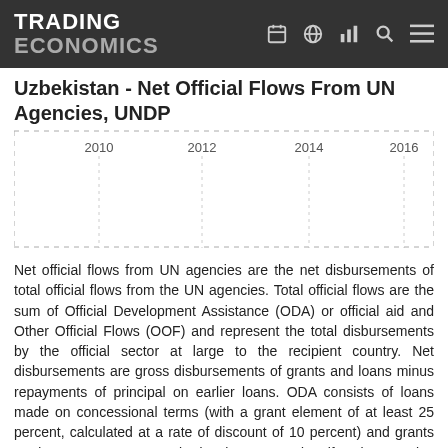TRADING ECONOMICS
Uzbekistan - Net Official Flows From UN Agencies, UNDP
[Figure (line-chart): Line chart showing net official flows from UN agencies (UNDP) for Uzbekistan over time. X-axis shows years 2010, 2012, 2014, 2016.]
Net official flows from UN agencies are the net disbursements of total official flows from the UN agencies. Total official flows are the sum of Official Development Assistance (ODA) or official aid and Other Official Flows (OOF) and represent the total disbursements by the official sector at large to the recipient country. Net disbursements are gross disbursements of grants and loans minus repayments of principal on earlier loans. ODA consists of loans made on concessional terms (with a grant element of at least 25 percent, calculated at a rate of discount of 10 percent) and grants made to promote economic development and welfare in countries and territories in the DAC list of ODA